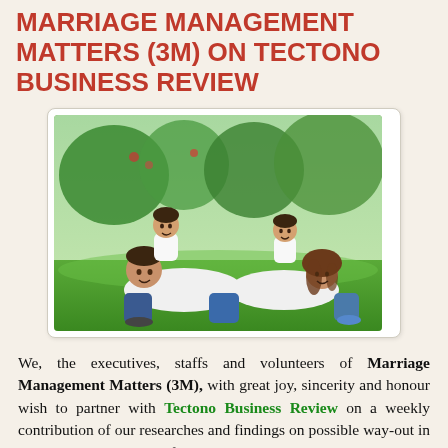MARRIAGE MANAGEMENT MATTERS (3M) ON TECTONO BUSINESS REVIEW
[Figure (photo): Happy family of four lying on grass outdoors — father and mother with two young children on their backs, smiling, in a park setting with green trees behind them.]
We, the executives, staffs and volunteers of Marriage Management Matters (3M), with great joy, sincerity and honour wish to partner with Tectono Business Review on a weekly contribution of our researches and findings on possible way-out in reducing continuous rift in marriages in the world through practical pastoral principles.
Tectono Business Review | 1510 ...